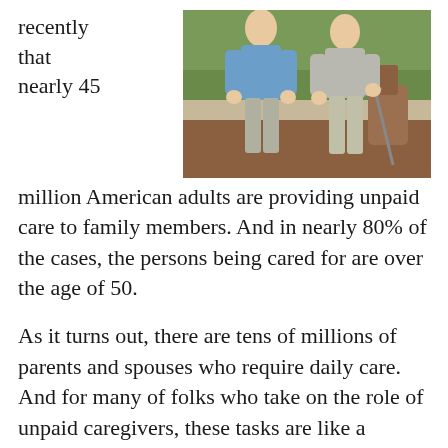recently that nearly 45
[Figure (photo): Two older men walking outdoors, one using a cane, in a garden or wooded area]
million American adults are providing unpaid care to family members. And in nearly 80% of the cases, the persons being cared for are over the age of 50.
As it turns out, there are tens of millions of parents and spouses who require daily care. And for many of folks who take on the role of unpaid caregivers, these tasks are like a second job for them.
Typically, they require a minimum of 20 hours per week (and often far more than that).